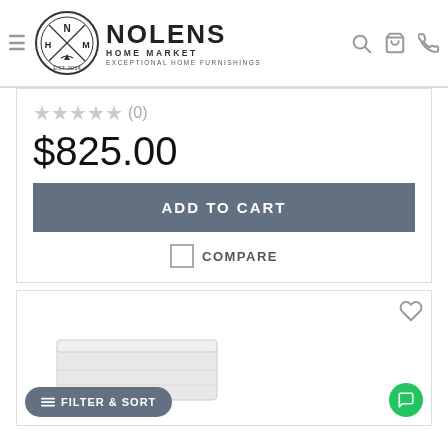Nolens Home Market — Exceptional Home Furnishings
★★★★★ (0)
$825.00
ADD TO CART
COMPARE
[Figure (screenshot): Product listing card showing a mattress product with wishlist heart icon, filter & sort button, and chat button]